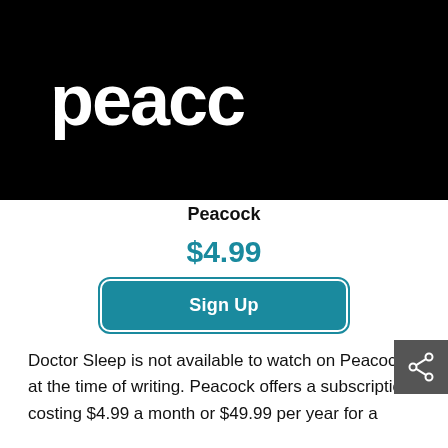[Figure (logo): Peacock logo — white text 'peacoc' (partially cropped) on black background]
Peacock
$4.99
Sign Up
Doctor Sleep is not available to watch on Peacock at the time of writing. Peacock offers a subscription costing $4.99 a month or $49.99 per year for a